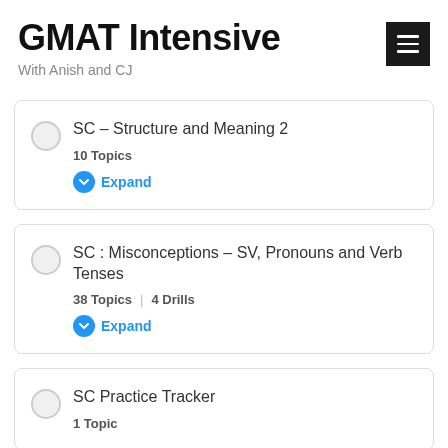GMAT Intensive
With Anish and CJ
SC – Structure and Meaning 2
10 Topics
Expand
SC : Misconceptions – SV, Pronouns and Verb Tenses
38 Topics | 4 Drills
Expand
SC Practice Tracker
1 Topic